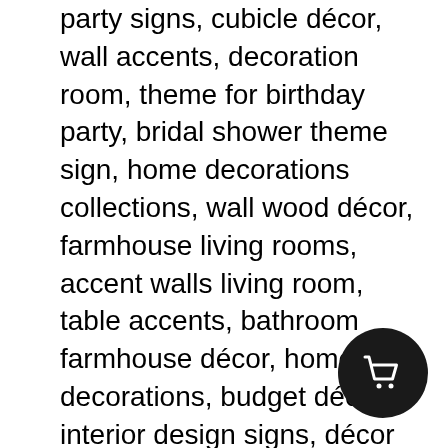party signs, cubicle décor, wall accents, decoration room, theme for birthday party, bridal shower theme sign, home decorations collections, wall wood décor, farmhouse living rooms, accent walls living room, table accents, bathroom farmhouse décor, home decorations, budget décor, interior design signs, décor home interior signs, interior decoration, holiday décor, St. Patrick's Day decorations, wooden door hanger, home décor items, bedroom signs, office signs, living room signs, kitchen signs, patio signs, decoration items, anniversary items, engagement decorations, 50th birthday decorations, party stuff, minimalist decoration, simple birthday decoration, 1st birthday decoration, 2nd birthday decoration, 3rd birthday decoration, 4th birthday decoration, 5th birthday decoration, 6th birthday decoration, 7th birthday decoration, 8th birthday decoration, 9th birthday decoration, 10th birthday decoration, 12th birthday decoration, 14th birthday decoration, 15th birthday decoration, 16th birthday decoration, 17th birthday decoration, 18th birthday decoration, 20th birthday decoration, 21st birthday...
[Figure (other): Black circular shopping cart button icon in the bottom-right area of the page]